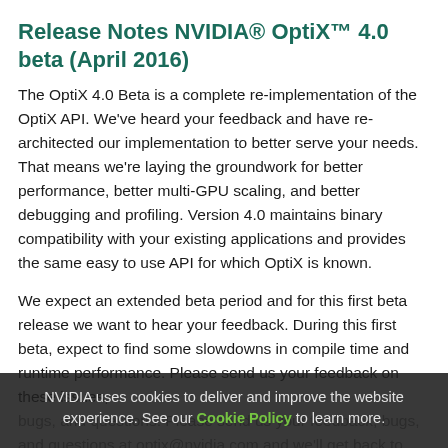Release Notes NVIDIA® OptiX™ 4.0 beta (April 2016)
The OptiX 4.0 Beta is a complete re-implementation of the OptiX API. We've heard your feedback and have re-architected our implementation to better serve your needs. That means we're laying the groundwork for better performance, better multi-GPU scaling, and better debugging and profiling. Version 4.0 maintains binary compatibility with your existing applications and provides the same easy to use API for which OptiX is known.
We expect an extended beta period and for this first beta release we want to hear your feedback. During this first beta, expect to find some slowdowns in compile time and runtime performance. Please send us your feedback on these issues, bugs, and questions. Please send us your feedback, bugs, and questions at optix@nvidia.com and we'll get back to you.
NVIDIA uses cookies to deliver and improve the website experience. See our Cookie Policy to learn more.